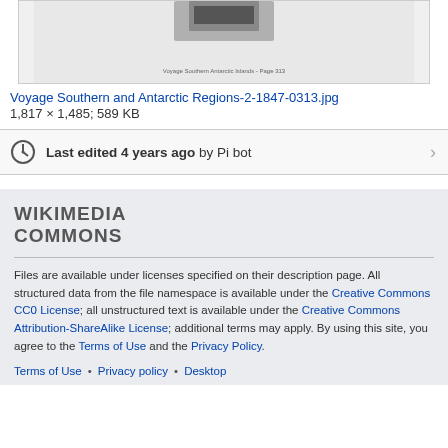[Figure (photo): Partial view of an image from a historic document — Voyage Southern and Antarctic Regions]
Voyage Southern and Antarctic Regions-2-1847-0313.jpg
1,817 × 1,485; 589 KB
Last edited 4 years ago by Pi bot
[Figure (logo): Wikimedia Commons logo text]
Files are available under licenses specified on their description page. All structured data from the file namespace is available under the Creative Commons CC0 License; all unstructured text is available under the Creative Commons Attribution-ShareAlike License; additional terms may apply. By using this site, you agree to the Terms of Use and the Privacy Policy.
Terms of Use • Privacy policy • Desktop